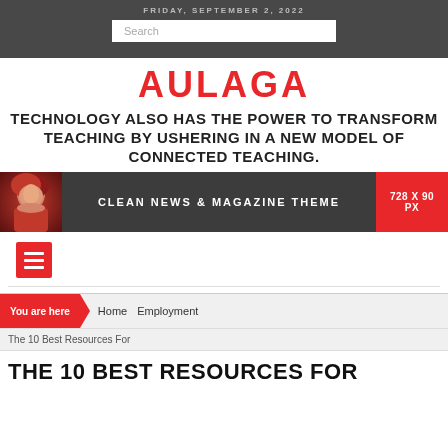FRIDAY, SEPTEMBER 2, 2022
AULAGA
TECHNOLOGY ALSO HAS THE POWER TO TRANSFORM TEACHING BY USHERING IN A NEW MODEL OF CONNECTED TEACHING.
[Figure (infographic): Banner advertisement showing a woman in a red headscarf on dark background with text CLEAN NEWS & MAGAZINE THEME and 728 X 90 PX]
[Figure (infographic): Red hamburger menu icon button]
You are here  Home  Employment
The 10 Best Resources For
THE 10 BEST RESOURCES FOR